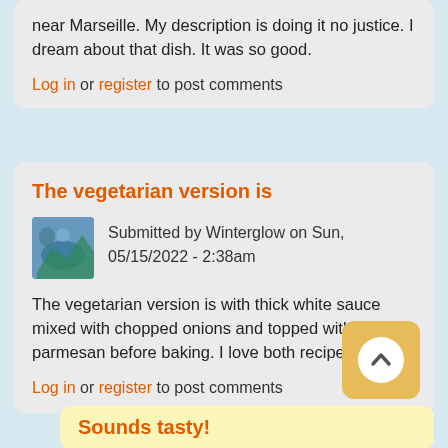near Marseille.  My description is doing it no justice.  I dream about that dish. It was so good.
Log in or register to post comments
The vegetarian version is
Submitted by Winterglow on Sun, 05/15/2022 - 2:38am
The vegetarian version is with thick white sauce mixed with chopped onions and topped with parmesan before baking. I love both recipes!
Log in or register to post comments
Sounds tasty!